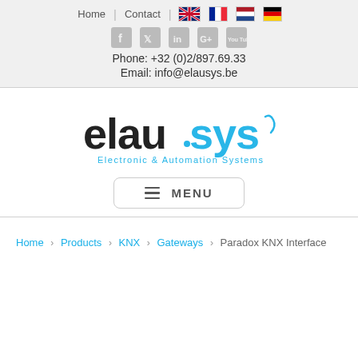Home | Contact | [EN] [FR] [NL] [DE]
[Figure (infographic): Social media icons: Facebook, Twitter, LinkedIn, Google+, YouTube]
Phone: +32 (0)2/897.69.33
Email: info@elausys.be
[Figure (logo): Elausys logo - Electronic & Automation Systems]
MENU
Home > Products > KNX > Gateways > Paradox KNX Interface